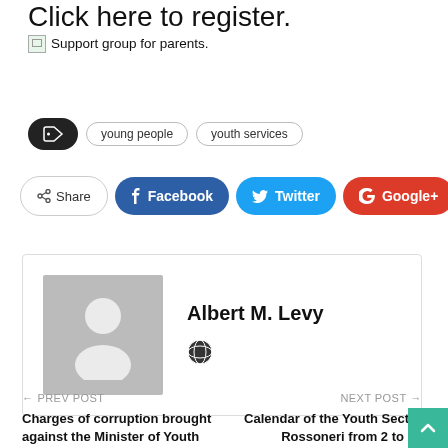Click here to register.
Support group for parents.
young people  youth services
Share  Facebook  Twitter  Google+  +
Albert M. Levy
← PREV POST
Charges of corruption brought against the Minister of Youth
NEXT POST →
Calendar of the Youth Sector Rossoneri from 2 to 28 November 2021